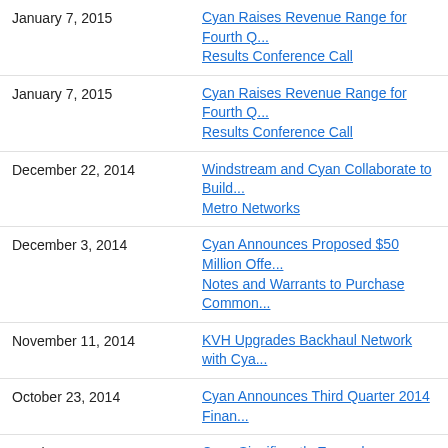January 7, 2015 — Cyan Raises Revenue Range for Fourth Q... Results Conference Call
January 7, 2015 — Cyan Raises Revenue Range for Fourth Q... Results Conference Call
December 22, 2014 — Windstream and Cyan Collaborate to Build... Metro Networks
December 3, 2014 — Cyan Announces Proposed $50 Million Offe... Notes and Warrants to Purchase Common...
November 11, 2014 — KVH Upgrades Backhaul Network with Cya...
October 23, 2014 — Cyan Announces Third Quarter 2014 Finan...
October 8, 2014 — Cyan Significantly Expands Addressable M... ASR and Juniper MX Platforms
September 9, 2014 — Cyan Extends Packet-Optical Leadership &... Forward with Major Enhancements
August 13, 2014 — Cyan Reports Second Quarter 2014 Financ...
Return to Company Archive
Page 1 of 3  1  2  3  »
Follow Telecom Ramblings!
Our Facebook Page   Like 723   Follow @TelcoRan...